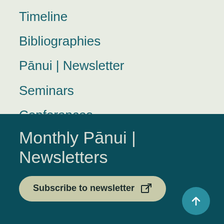Timeline
Bibliographies
Pānui | Newsletter
Seminars
Conferences
Monthly Pānui | Newsletters
Subscribe to newsletter
Stay connected with Alerts
News Alerts